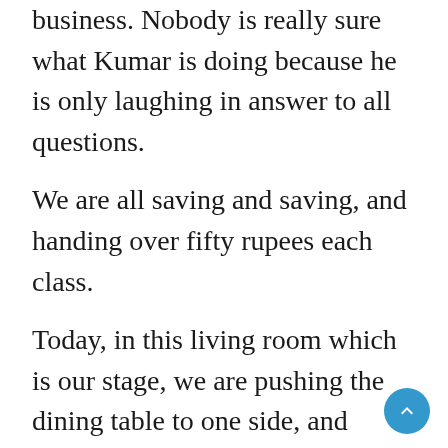business. Nobody is really sure what Kumar is doing because he is only laughing in answer to all questions.
We are all saving and saving, and handing over fifty rupees each class.
Today, in this living room which is our stage, we are pushing the dining table to one side, and practicing a scene in which a man is being suspicious of his wife. After some, if it can be said, lackluster performances, it is my turn. I am placing my phone on the floor to